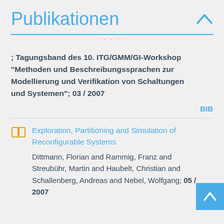Publikationen
; Tagungsband des 10. ITG/GMM/GI-Workshop "Methoden und Beschreibungssprachen zur Modellierung und Verifikation von Schaltungen und Systemen"; 03 / 2007
BIB
Exploration, Partitioning and Simulation of Reconfigurable Systems
Dittmann, Florian and Rammig, Franz and Streubühr, Martin and Haubelt, Christian and Schallenberg, Andreas and Nebel, Wolfgang; 05 / 2007
BIB